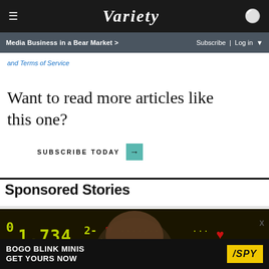VARIETY | Media Business in a Bear Market > | Subscribe | Log in
and Terms of Service
Want to read more articles like this one?
SUBSCRIBE TODAY →
Sponsored Stories
[Figure (photo): Man's face against stock ticker background showing 1.734 with red heart symbols, financial themed image]
[Figure (infographic): BOGO BLINK MINIS GET YOURS NOW ad banner with SPY logo on yellow background]